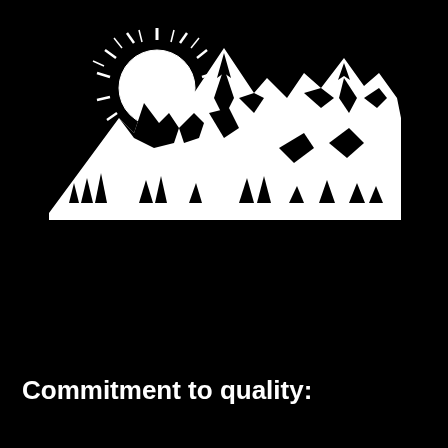[Figure (logo): White mountain range silhouette with a rising sun behind the peaks on a black background. The logo shows multiple mountain peaks with a sunburst radiating from behind the left peak, and detailed rock/tree textures throughout.]
Commitment to quality: